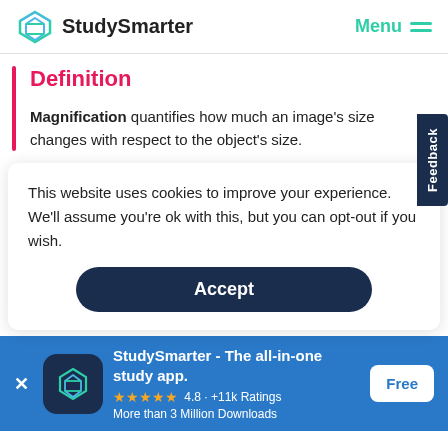StudySmarter   Menu
Definition
Magnification quantifies how much an image's size changes with respect to the object's size.
This website uses cookies to improve your experience. We'll assume you're ok with this, but you can opt-out if you wish.
Accept
StudySmarter - The all-in-one study app.
★★★★★  4.8 · +11k Ratings
More than 3 Million Downloads
Free